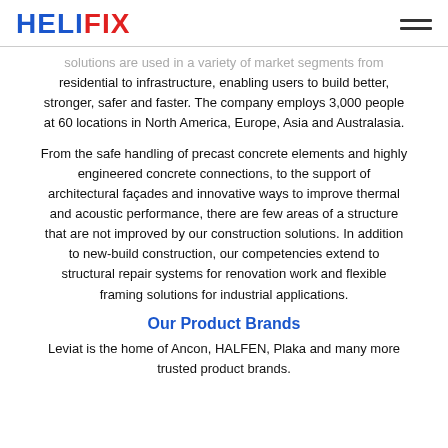HELIFIX
solutions are used in a variety of market segments from residential to infrastructure, enabling users to build better, stronger, safer and faster. The company employs 3,000 people at 60 locations in North America, Europe, Asia and Australasia.
From the safe handling of precast concrete elements and highly engineered concrete connections, to the support of architectural façades and innovative ways to improve thermal and acoustic performance, there are few areas of a structure that are not improved by our construction solutions. In addition to new-build construction, our competencies extend to structural repair systems for renovation work and flexible framing solutions for industrial applications.
Our Product Brands
Leviat is the home of Ancon, HALFEN, Plaka and many more trusted product brands.